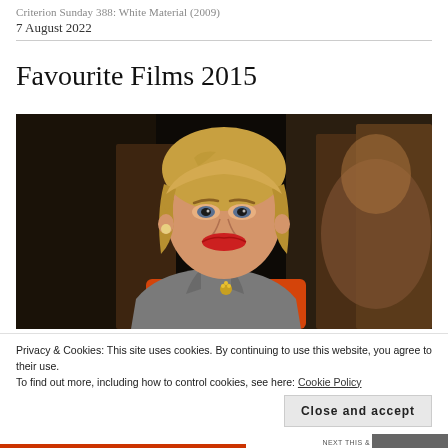Criterion Sunday 388: White Material (2009)
7 August 2022
Favourite Films 2015
[Figure (photo): A woman with blonde wavy hair wearing a grey blazer over an orange top with red polka dots, with a brooch, set against a dark background. A second figure is partially visible in the background.]
Privacy & Cookies: This site uses cookies. By continuing to use this website, you agree to their use.
To find out more, including how to control cookies, see here: Cookie Policy
Close and accept